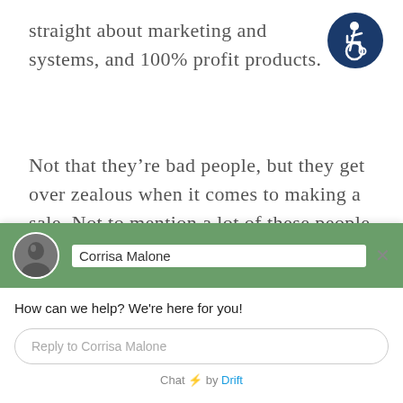straight about marketing and systems, and 100% profit products.
[Figure (illustration): Accessibility icon: circular dark blue badge with a wheelchair user symbol in white]
Not that they’re bad people, but they get over zealous when it comes to making a sale. Not to mention a lot of these people are new comers and don't a thing about marketing and the
[Figure (screenshot): Drift chat widget popup showing avatar of Corrisa Malone, a message 'How can we help? We’re here for you!', a reply input field, and 'Chat by Drift' footer]